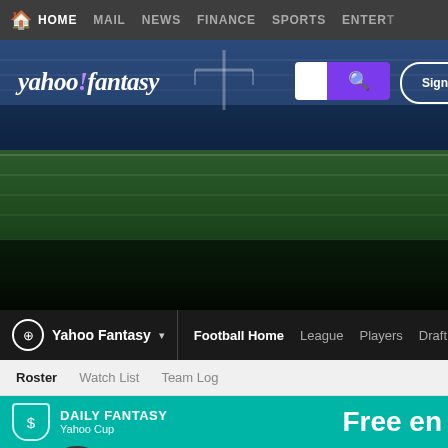HOME  MAIL  NEWS  FINANCE  SPORTS  ENTER...
[Figure (screenshot): Yahoo Fantasy Sports website header with football stadium background. Shows yahoo!fantasy logo, search bar, and Sign in button over a football field hero image.]
Yahoo Fantasy ▾   Football Home   League   Players   Draft
Roster   Watch List   Team Log
DAILY FANTASY Yahoo Cup   Free en...
FFToolbox Weekly ▾
--hidden--  Since '14
Rating: 6...